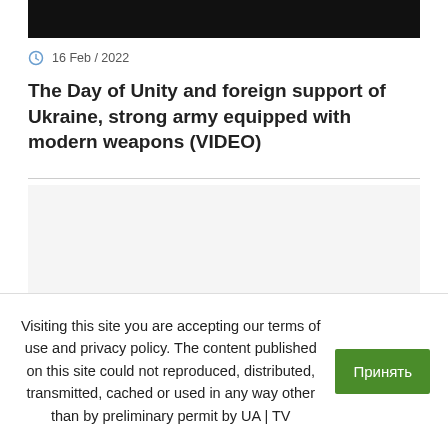[Figure (photo): Black redacted/placeholder image banner at top of page]
16 Feb / 2022
The Day of Unity and foreign support of Ukraine, strong army equipped with modern weapons (VIDEO)
[Figure (other): Gray placeholder content area]
Visiting this site you are accepting our terms of use and privacy policy. The content published on this site could not reproduced, distributed, transmitted, cached or used in any way other than by preliminary permit by UA | TV
Принять